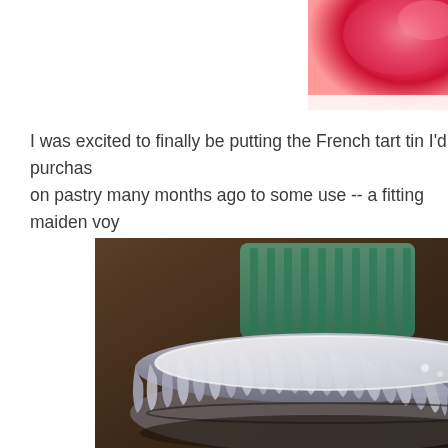[Figure (photo): Partial view of a pink/red dessert or food item, cropped in the top-right corner of the page.]
I was excited to finally be putting the French tart tin I'd purchas on pastry many months ago to some use -- a fitting maiden voy
[Figure (photo): Close-up photograph of a French tart tin (fluted metal tart pan) with a removable bottom, shown at an angle with a green berry basket visible in the blurred background.]